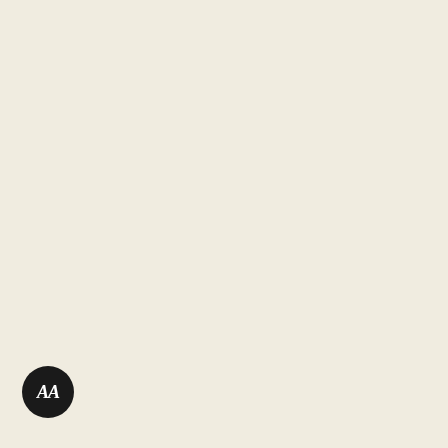1969C $5 Small Size Federal Reserve Note
1974 $5 Small Size Federal Reserve Note
1977 $5 Small Size Federal Reserve Note
1977A $5 Small Size Federal Reserve Note
1981 $5 Small Size Federal Reserve Note
1981A $5 Small Size Federal Reserve Note
1985 $5 Small Size Federal Reserve Note
1988 $5 Small Size Federal Reserve Note
1988A $5 Small Size Federal Reserve Note
1988A $5 Small Size Federal Reserve Note
1993 $5 Small Size Federal Reserve Note
1993 $5 Small Size Federal Reserve Note
1995 $5 Small Size Federal Reserve Note
1995 $5 Small Size Federal Reserve Note
1999 $5 Small Size Federal Reserve Note
1999 $5 Small Size Federal Reserve Note
2001 $5 Small Size Federal Reserve Note
2003 $5 Small Size Federal Reserve Note
2003 $5 Small Size Federal Reserve Note
2003A $5 Small Size Federal Reserve Note
2006 $5 Small Size Federal Reserve Note
2006 $5 Small Size Federal Reserve Note
2009 $5 Small Size Federal Reserve Note
2009 $5 Small Size Federal Reserve Note